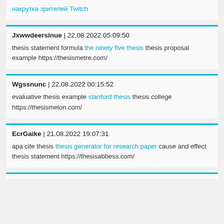накрутка зрителей Twitch
Jxwwdeersinue | 22.08.2022 05:09:50
thesis statement formula the ninety five thesis thesis proposal example https://thesismetre.com/
Wgssnunc | 22.08.2022 00:15:52
evaluative thesis example stanford thesis thesis college https://thesismelon.com/
EcrGaike | 21.08.2022 19:07:31
apa cite thesis thesis generator for research paper cause and effect thesis statement https://thesisabbess.com/